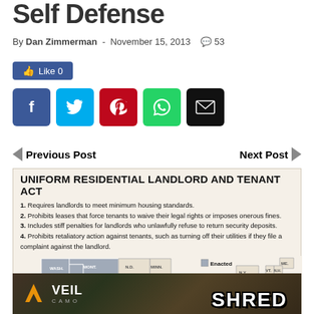Self Defense
By Dan Zimmerman - November 15, 2013  💬 53
[Figure (infographic): Uniform Residential Landlord and Tenant Act infographic with 4 bullet points and a US map showing states where it has been enacted (highlighted in gray).]
[Figure (photo): Veil Camo advertisement banner with 'SHRED' text overlay on a camouflage pattern background.]